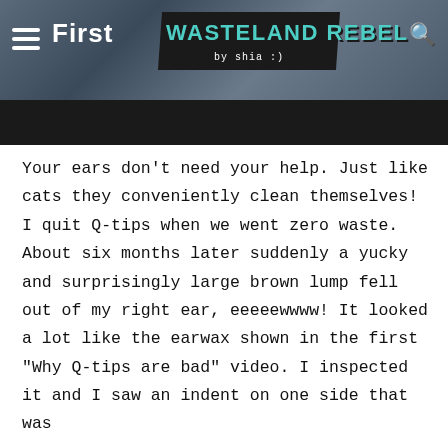[Figure (screenshot): Website header for 'Wasteland Rebel by shia :)' blog showing hamburger menu, site logo in teal on black diagonal banner, partial text 'First ... CEO' in white, search icon, and a black bar below the header image.]
Your ears don't need your help. Just like cats they conveniently clean themselves! I quit Q-tips when we went zero waste. About six months later suddenly a yucky and surprisingly large brown lump fell out of my right ear, eeeeewwww! It looked a lot like the earwax shown in the first "Why Q-tips are bad" video. I inspected it and I saw an indent on one side that was